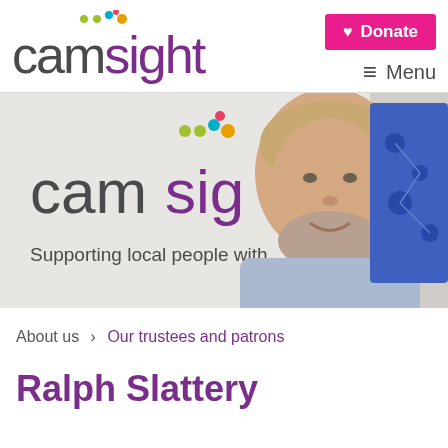camsight | Donate | Menu
[Figure (photo): A smiling older man with grey beard and hair standing in front of a Camsight banner that reads 'Supporting local people with' and shows the camsight logo with coloured dots. A blue abstract artwork is visible on the right.]
About us > Our trustees and patrons
Ralph Slattery